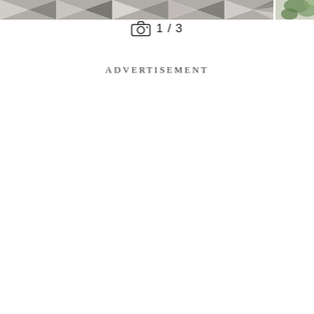[Figure (photo): Partial view of a tiled floor with black and white checkerboard pattern and marble-like textures, cropped at the top of the page. A second partial photo strip is visible at the far right edge showing green foliage.]
1 / 3
ADVERTISEMENT